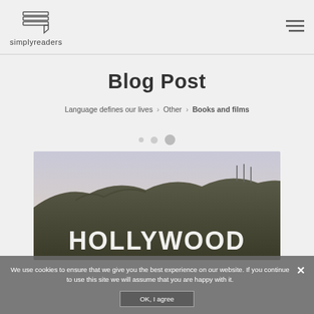simplyreaders
Blog Post
Language defines our lives > Other > Books and films
[Figure (other): Three pagination dots, the rightmost being the largest/active]
[Figure (photo): Hollywood sign on a hillside with cloudy sky background]
We use cookies to ensure that we give you the best experience on our website. If you continue to use this site we will assume that you are happy with it.
OK, I agree